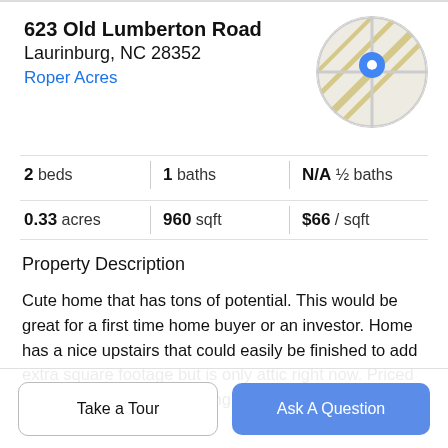623 Old Lumberton Road
Laurinburg, NC 28352
Roper Acres
[Figure (map): Circular map thumbnail showing road map with a blue location pin marker]
2 beds | 1 baths | N/A ½ baths
0.33 acres | 960 sqft | $66 / sqft
Property Description
Cute home that has tons of potential. This would be great for a first time home buyer or an investor. Home has a nice upstairs that could easily be finished to add extra square footage but is only attic right now. Priced to sell "as is" owner is willing to listen to an offer with repairs but not at
Take a Tour
Ask A Question